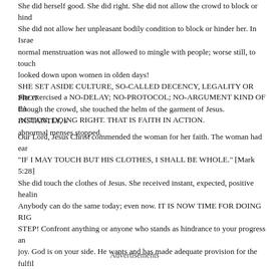She did herself good. She did right. She did not allow the crowd to block or hinder her. She did not allow her unpleasant bodily condition to block or hinder her. In Israel, a woman in normal menstruation was not allowed to mingle with people; worse still, to touch... looked down upon women in olden days! SHE SET ASIDE CULTURE, SO-CALLED DECENCY, LEGALITY OR PROTOCOL... through the crowd, she touched the helm of the garment of Jesus. INSTANTLY, she... abnormal menses stopped.
She exercised a NO-DELAY; NO-PROTOCOL; NO-ARGUMENT KIND OF FAITH IN ACTION; DOING RIGHT. THAT IS FAITH IN ACTION.
Our Lord, Jesus Christ commended the woman for her faith. The woman had earlier said "IF I MAY TOUCH BUT HIS CLOTHES, I SHALL BE WHOLE." [Mark 5:28] She did touch the clothes of Jesus. She received instant, expected, positive healing. Anybody can do the same today; even now. IT IS NOW TIME FOR DOING RIGHT! TAKE THAT STEP! Confront anything or anyone who stands as hindrance to your progress and your joy. God is on your side. He wants and has made adequate provision for the fulfillment. THERE IS NEVER A PROBLEM WHICH JESUS CHRIST CANNOT SOLVE. WHETHER IT IS PHYSICAL, OR PHYSIOLOGICAL, PSYCHOLOGICAL, SOCIOLOGICAL, MARRIAGE-BASED, PRODUCING YOUR OWN CHILDREN OR FINANCIAL PROBLEMS, THERE IS A SOLUTION BY JESUS CHRIST! CALL UPON HIM SINCERELY AND HUMBLY. upon the name of the Lord shall be saved. Romans 10:13.
Advertisements